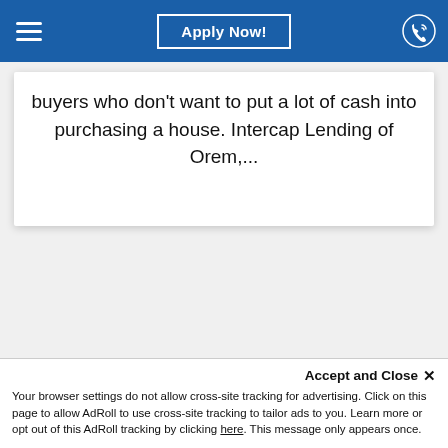Apply Now!
buyers who don't want to put a lot of cash into purchasing a house. Intercap Lending of Orem,...
Accept and Close ×
Your browser settings do not allow cross-site tracking for advertising. Click on this page to allow AdRoll to use cross-site tracking to tailor ads to you. Learn more or opt out of this AdRoll tracking by clicking here. This message only appears once.